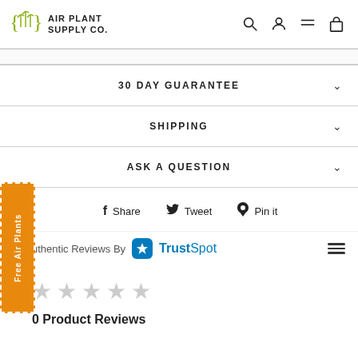AIR PLANT SUPPLY CO.
30 DAY GUARANTEE
SHIPPING
ASK A QUESTION
Free Air Plants
Share  Tweet  Pin it
Authentic Reviews By TrustSpot
0 Product Reviews